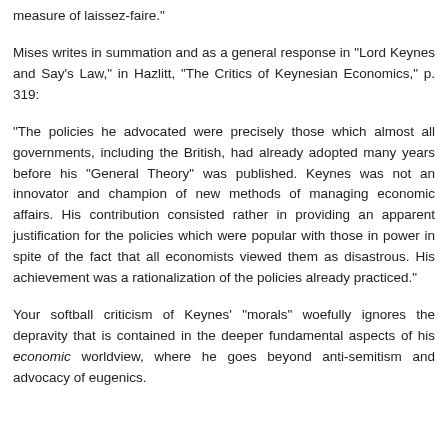measure of laissez-faire."
Mises writes in summation and as a general response in "Lord Keynes and Say's Law," in Hazlitt, "The Critics of Keynesian Economics," p. 319:
"The policies he advocated were precisely those which almost all governments, including the British, had already adopted many years before his "General Theory" was published. Keynes was not an innovator and champion of new methods of managing economic affairs. His contribution consisted rather in providing an apparent justification for the policies which were popular with those in power in spite of the fact that all economists viewed them as disastrous. His achievement was a rationalization of the policies already practiced."
Your softball criticism of Keynes' "morals" woefully ignores the depravity that is contained in the deeper fundamental aspects of his economic worldview, where he goes beyond anti-semitism and advocacy of eugenics.